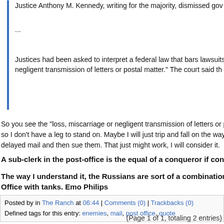Justice Anthony M. Kennedy, writing for the majority, dismissed gov
...
Justices had been asked to interpret a federal law that bars lawsuits negligent transmission of letters or postal matter." The court said th
So you see the "loss, miscarriage or negligent transmission of letters or posta so I don't have a leg to stand on. Maybe I will just trip and fall on the way out delayed mail and then sue them. That just might work, I will consider it.
A sub-clerk in the post-office is the equal of a conqueror if consciousne
The way I understand it, the Russians are sort of a combination of evil a Office with tanks. Emo Philips
Posted by in The Ranch at 06:44 | Comments (0) | Trackbacks (0) Defined tags for this entry: enemies, mail, post office, quote
(Page 1 of 1, totaling 2 entries)